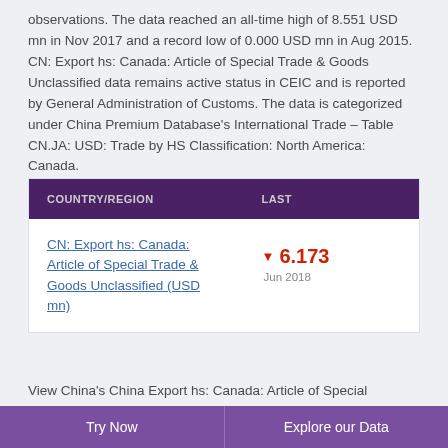observations. The data reached an all-time high of 8.551 USD mn in Nov 2017 and a record low of 0.000 USD mn in Aug 2015. CN: Export hs: Canada: Article of Special Trade & Goods Unclassified data remains active status in CEIC and is reported by General Administration of Customs. The data is categorized under China Premium Database's International Trade – Table CN.JA: USD: Trade by HS Classification: North America: Canada.
| COUNTRY/REGION | LAST |
| --- | --- |
| CN: Export hs: Canada: Article of Special Trade & Goods Unclassified (USD mn) | ▼ 6.173
Jun 2018 |
View China's China Export hs: Canada: Article of Special
Try Now    Explore our Data